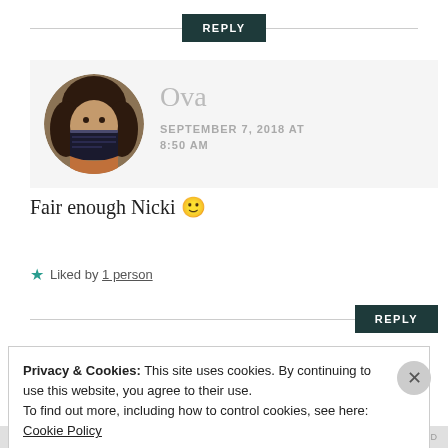REPLY
[Figure (photo): Circular avatar photo of a woman with curly dark hair holding a book in front of her face, in a warm indoor setting.]
Ova
SEPTEMBER 7, 2018 AT 8:50 AM
Fair enough Nicki 🙂
★ Liked by 1 person
REPLY
Privacy & Cookies: This site uses cookies. By continuing to use this website, you agree to their use.
To find out more, including how to control cookies, see here: Cookie Policy
Close and accept